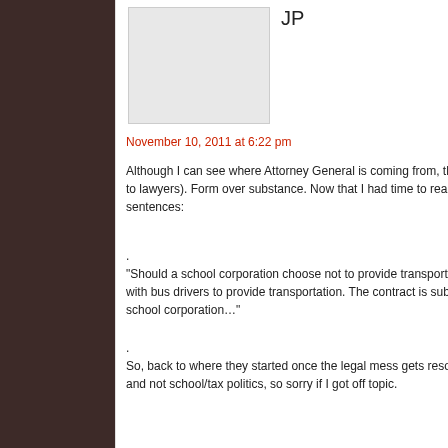JP
November 10, 2011 at 6:22 pm
Although I can see where Attorney General is coming from, this seem (except to lawyers). Form over substance. Now that I had time to read following two sentences:
.
“Should a school corporation choose not to provide transportation to i contract with bus drivers to provide transportation. The contract is sub body of the school corporation…”
.
So, back to where they started once the legal mess gets resolved. An design and not school/tax politics, so sorry if I got off topic.
Joe Smoker
November 10, 2011 at 6:22